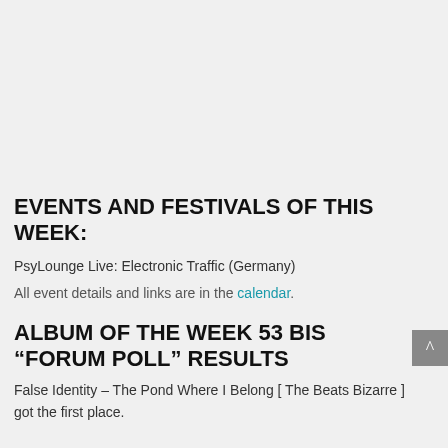[Figure (illustration): Banner image with a collage grid of colorful album art thumbnails and overlay text 'CLICK HERE TO VOTE' on the left, and a bullet list on the right: COMPILATION OF THE YEAR, LABEL OF THE YEAR, BEST FESTIVAL EXPERIENCE OF 2015, BEST FESTIVAL EXPERIENCE, BEST NEW ARTIST, FAVOURITE DJ (S), FAVOURITE PSY RADIO(S)]
EVENTS AND FESTIVALS OF THIS WEEK:
PsyLounge Live: Electronic Traffic (Germany)
All event details and links are in the calendar.
ALBUM OF THE WEEK 53 BIS "FORUM POLL" RESULTS
False Identity – The Pond Where I Belong [ The Beats Bizarre ] got the first place.